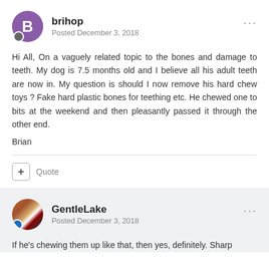brihop
Posted December 3, 2018
Hi All, On a vaguely related topic to the bones and damage to teeth. My dog is 7.5 months old and I believe all his adult teeth are now in. My question is should I now remove his hard chew toys ? Fake hard plastic bones for teething etc. He chewed one to bits at the weekend and then pleasantly passed it through the other end.
Brian
Quote
GentleLake
Posted December 3, 2018
If he's chewing them up like that, then yes, definitely. Sharp